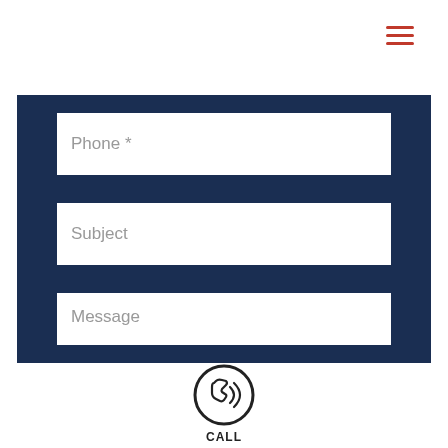[Figure (other): Hamburger menu icon with three horizontal red lines]
[Figure (other): Contact form with dark navy blue background containing three input fields: Phone (required), Subject, and Message]
[Figure (other): Phone call icon (circular with phone handset and sound waves) with CALL label beneath it]